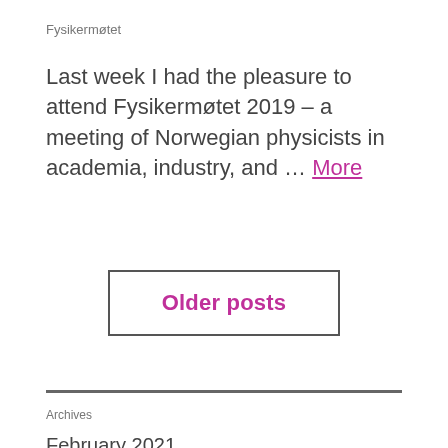Fysikermøtet
Last week I had the pleasure to attend Fysikermøtet 2019 – a meeting of Norwegian physicists in academia, industry, and … More
Older posts
Archives
February 2021
December 2020
June 2020